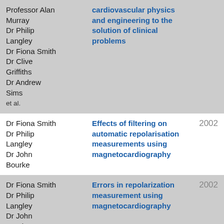| Authors | Title | Year |
| --- | --- | --- |
| Professor Alan Murray
Dr Philip Langley
Dr Fiona Smith
Dr Clive Griffiths
Dr Andrew Sims
et al. | cardiovascular physics and engineering to the solution of clinical problems |  |
| Dr Fiona Smith
Dr Philip Langley
Dr John Bourke | Effects of filtering on automatic repolarisation measurements using magnetocardiography | 2002 |
| Dr Fiona Smith
Dr Philip Langley
Dr John Bourke | Errors in repolarization measurement using magnetocardiography | 2002 |